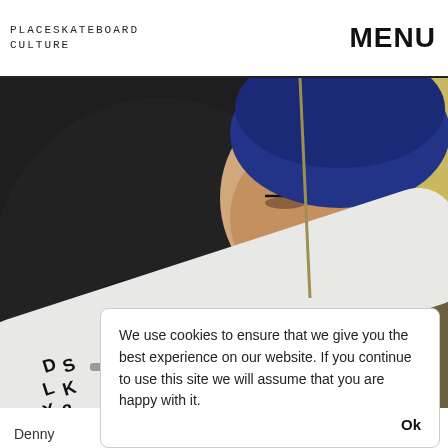PLACESKATEBOARD CULTURE   MENU
[Figure (photo): Young man wearing a dark navy sweater and blue beanie hat, looking down at a skateboard he is holding. The skateboard has DLXL and Nike branding visible. Background shows a yellowish-green wall.]
Denny
We use cookies to ensure that we give you the best experience on our website. If you continue to use this site we will assume that you are happy with it.  Ok